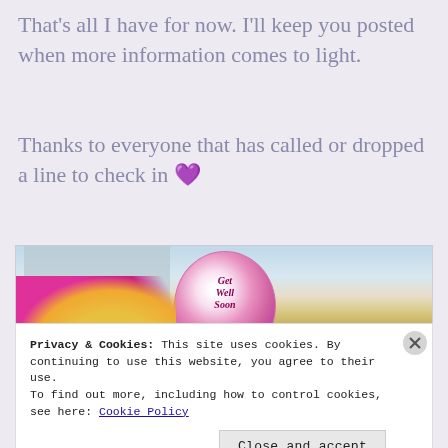That's all I have for now. I'll keep you posted when more information comes to light.
Thanks to everyone that has called or dropped a line to check in 💜
[Figure (photo): A colorful 'Get Well Soon' balloon with pink, yellow, and purple flowers near a bright window with a building visible outside.]
Privacy & Cookies: This site uses cookies. By continuing to use this website, you agree to their use.
To find out more, including how to control cookies, see here: Cookie Policy
Close and accept